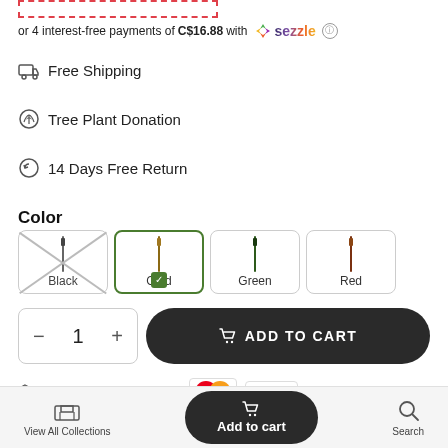or 4 interest-free payments of C$16.88 with Sezzle ⓘ
🚚 Free Shipping
🌱 Tree Plant Donation
↺ 14 Days Free Return
Color
[Figure (other): Color swatches for Black (out of stock, crossed out), Gold (selected with green checkmark), Green, Red — each showing a pen image]
- 1 + ADD TO CART
🔒 Secure Payment methods: [Mastercard] [VISA]
View All Collections | Add to cart | Search